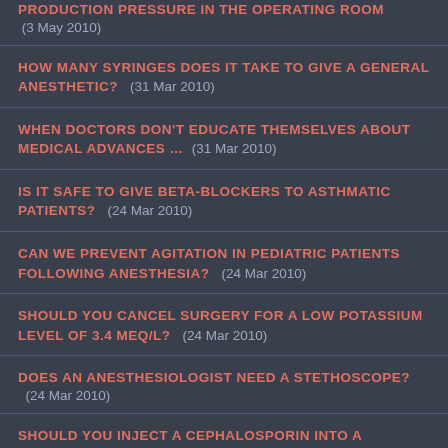PRODUCTION PRESSURE IN THE OPERATING ROOM (3 May 2010)
HOW MANY SYRINGES DOES IT TAKE TO GIVE A GENERAL ANESTHETIC? (31 Mar 2010)
WHEN DOCTORS DON'T EDUCATE THEMSELVES ABOUT MEDICAL ADVANCES … (31 Mar 2010)
IS IT SAFE TO GIVE BETA-BLOCKERS TO ASTHMATIC PATIENTS? (24 Mar 2010)
CAN WE PREVENT AGITATION IN PEDIATRIC PATIENTS FOLLOWING ANESTHESIA? (24 Mar 2010)
SHOULD YOU CANCEL SURGERY FOR A LOW POTASSIUM LEVEL OF 3.4 mEq/L? (24 Mar 2010)
DOES AN ANESTHESIOLOGIST NEED A STETHOSCOPE? (24 Mar 2010)
SHOULD YOU INJECT A CEPHALOSPORIN INTO A